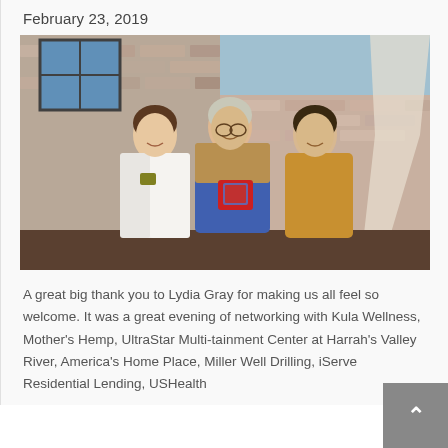February 23, 2019
[Figure (photo): Three women standing together indoors against a brick wall. The woman in the center is holding a red award/trophy. The woman on the left wears a white sleeveless top and the woman on the right wears a mustard/yellow top.]
A great big thank you to Lydia Gray for making us all feel so welcome. It was a great evening of networking with Kula Wellness, Mother's Hemp, UltraStar Multi-tainment Center at Harrah's Valley River, America's Home Place, Miller Well Drilling, iServe Residential Lending, USHealth Advisors, Town Mortgage, FNB Bank, Mount...